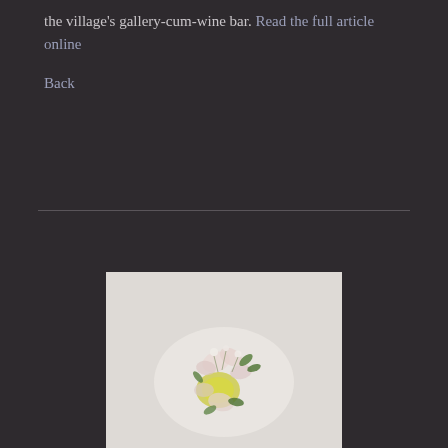the village's gallery-cum-wine bar. Read the full article online
Back
[Figure (photo): An artistic plated dish with delicate white flowers and green herb garnishes arranged on a white plate, photographed against a light grey background. Below the image is a dark purple-blue footer bar reading 'ALEXANDER RESTAURANT' with a dot.]